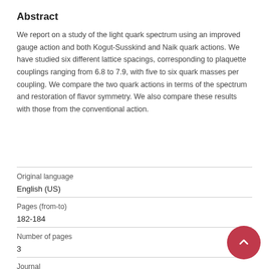Abstract
We report on a study of the light quark spectrum using an improved gauge action and both Kogut-Susskind and Naik quark actions. We have studied six different lattice spacings, corresponding to plaquette couplings ranging from 6.8 to 7.9, with five to six quark masses per coupling. We compare the two quark actions in terms of the spectrum and restoration of flavor symmetry. We also compare these results with those from the conventional action.
| Original language |  |
| English (US) |  |
| Pages (from-to) |  |
| 182-184 |  |
| Number of pages |  |
| 3 |  |
| Journal |  |